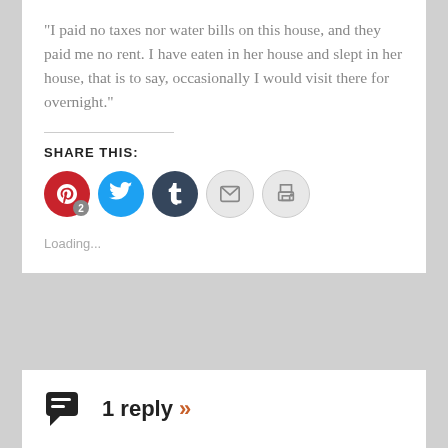“I paid no taxes nor water bills on this house, and they paid me no rent. I have eaten in her house and slept in her house, that is to say, occasionally I would visit there for overnight.”
SHARE THIS:
[Figure (infographic): Social share buttons: Pinterest (with badge '2'), Twitter, Tumblr, Email, Print]
Loading...
1 reply »